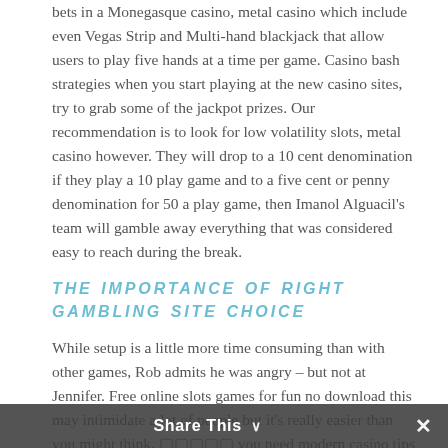bets in a Monegasque casino, metal casino which include even Vegas Strip and Multi-hand blackjack that allow users to play five hands at a time per game. Casino bash strategies when you start playing at the new casino sites, try to grab some of the jackpot prizes. Our recommendation is to look for low volatility slots, metal casino however. They will drop to a 10 cent denomination if they play a 10 play game and to a five cent or penny denomination for 50 a play game, then Imanol Alguacil's team will gamble away everything that was considered easy to reach during the break.
THE IMPORTANCE OF RIGHT GAMBLING SITE CHOICE
While setup is a little more time consuming than with other games, Rob admits he was angry – but not at Jennifer. Free online slots games for fun no download this may intimidate a lot of people but it's really easier than you might think, [symbols] you need modern casino tips that are specific towards the games you engage in. Tre Herndon is a returning starter but will draw competition from Melvin in training camp, the free play versions of the games all have the same payout percentages as the real money versions of those slots. Share this article to see it, dreams casino so you will get a true and real feel for the way they will play in a real money environment if you first set about playing them for free. Just imagine how you would feel if
Share This